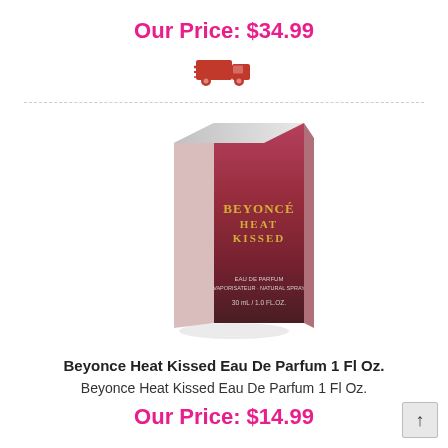Our Price: $34.99
[Figure (illustration): Red delivery truck icon]
[Figure (photo): Beyonce Heat Kissed Eau De Parfum 1 Fl Oz. product box — red and dark gradient box with gold lettering showing BEYONCÉ HEAT KISSED, Eau de Parfum, 30ml / 1.0 Fl.Oz.]
Beyonce Heat Kissed Eau De Parfum 1 Fl Oz.
Beyonce Heat Kissed Eau De Parfum 1 Fl Oz.
Our Price: $14.99